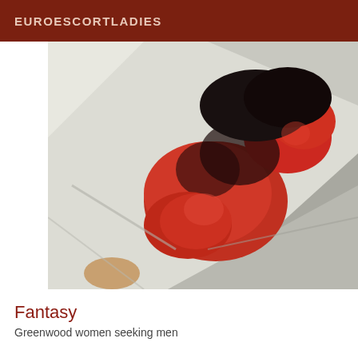EUROESCORTLADIES
[Figure (photo): A person lying on white and grey bedding, wearing red lingerie and red stockings, photographed from above at an angle.]
Fantasy
Greenwood women seeking men